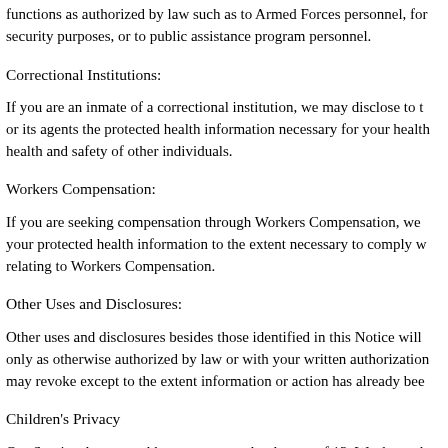functions as authorized by law such as to Armed Forces personnel, for security purposes, or to public assistance program personnel.
Correctional Institutions:
If you are an inmate of a correctional institution, we may disclose to the institution or its agents the protected health information necessary for your health care and the health and safety of other individuals.
Workers Compensation:
If you are seeking compensation through Workers Compensation, we may disclose your protected health information to the extent necessary to comply with laws relating to Workers Compensation.
Other Uses and Disclosures:
Other uses and disclosures besides those identified in this Notice will be made only as otherwise authorized by law or with your written authorization, which you may revoke except to the extent information or action has already been taken.
Children's Privacy
Our Service does not address anyone under the age of 13. We do not knowingly collect personally identifiable information from anyone under the age of 13. If you are a parent or guardian and You are aware that Your child has provided us with Personal